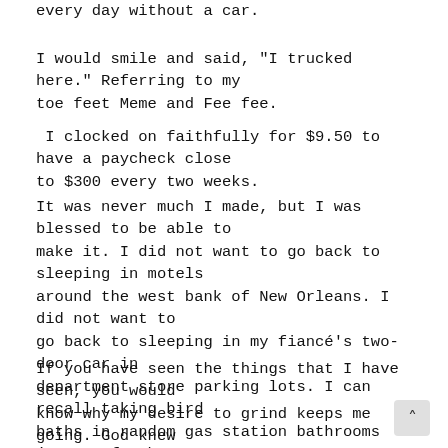every day without a car.
I would smile and said, "I trucked here." Referring to my toe feet Meme and Fee fee.
I clocked on faithfully for $9.50 to have a paycheck close to $300 every two weeks.
It was never much I made, but I was blessed to be able to make it. I did not want to go back to sleeping in motels around the west bank of New Orleans. I did not want to go back to sleeping in my fiancé's two-door car in department store parking lots. I can recall taking bird baths in random gas station bathrooms just to freshen myself up. Those deep stares that I gave myself in those gas station bathrooms still reflect my hunger today.
If you have seen the things that I have seen, you would know why my desire to grind keeps me going. God knew what he was doing when he blessed me with this passion that burns deep within me. A passion that is deeper than just hair care on YouTube. I'm willing to do what it takes